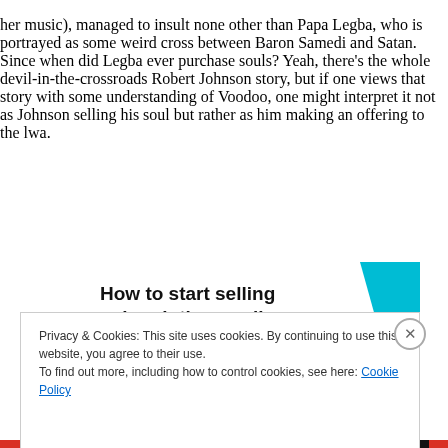her music), managed to insult none other than Papa Legba, who is portrayed as some weird cross between Baron Samedi and Satan. Since when did Legba ever purchase souls? Yeah, there’s the whole devil-in-the-crossroads Robert Johnson story, but if one views that story with some understanding of Voodoo, one might interpret it not as Johnson selling his soul but rather as him making an offering to the lwa.
[Figure (other): Advertisement banner: 'How to start selling subscriptions online' with a cyan geometric shape on the right]
Privacy & Cookies: This site uses cookies. By continuing to use this website, you agree to their use.
To find out more, including how to control cookies, see here: Cookie Policy